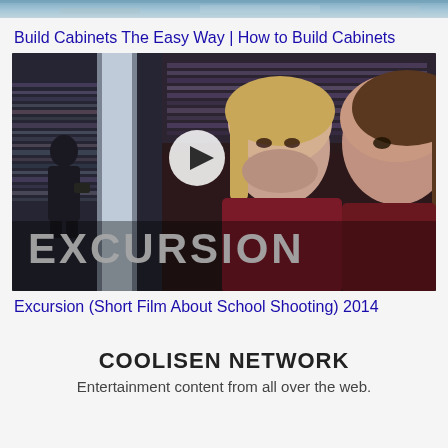[Figure (photo): Top strip of an image, appears to be a landscape or outdoor photo, partially cropped]
Build Cabinets The Easy Way | How to Build Cabinets
[Figure (screenshot): Video thumbnail for 'Excursion (Short Film About School Shooting) 2014'. Shows two girls in a library looking scared, a boy in the background browsing bookshelves, with a play button overlay and the word EXCURSION in large white text at the bottom.]
Excursion (Short Film About School Shooting) 2014
COOLISEN NETWORK
Entertainment content from all over the web.